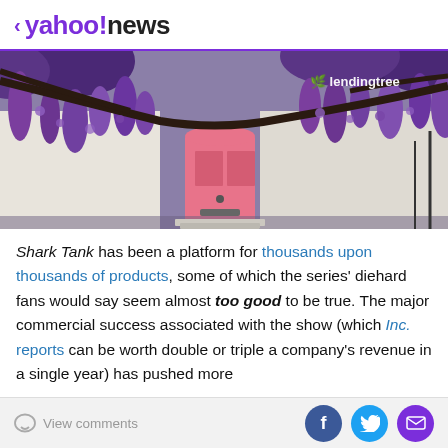< yahoo!news
[Figure (photo): Photo of a white building with a pink front door surrounded by hanging purple wisteria flowers, with a LendingTree watermark in the top right corner.]
Shark Tank has been a platform for thousands upon thousands of products, some of which the series' diehard fans would say seem almost too good to be true. The major commercial success associated with the show (which Inc. reports can be worth double or triple a company's revenue in a single year) has pushed more
View comments | Facebook | Twitter | Mail